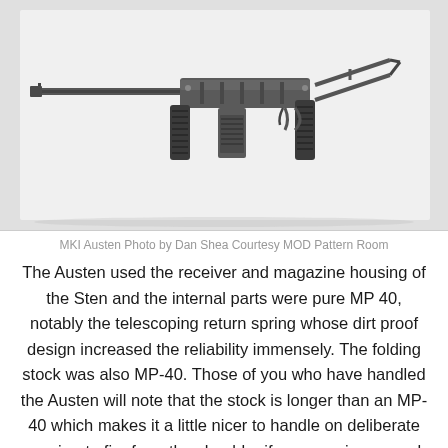[Figure (photo): Black and white photograph of a MKI Austen submachine gun, shown in profile against a white background. The weapon shows two pistol grips, a folding stock, and a barrel extending to the left.]
MKI Austen Photo by Dan Shea Courtesy MOD Pattern Room
The Austen used the receiver and magazine housing of the Sten and the internal parts were pure MP 40, notably the telescoping return spring whose dirt proof design increased the reliability immensely. The folding stock was also MP-40. Those of you who have handled the Austen will note that the stock is longer than an MP- 40 which makes it a little nicer to handle on deliberate semi-auto fire from the shoulder if you are six one and overweight like myself. It's probably too long for shorter shooters. The reason for the length was to enable it to fold under the forward pistol grip. The purely Australian feature is the two pistol grips. Well